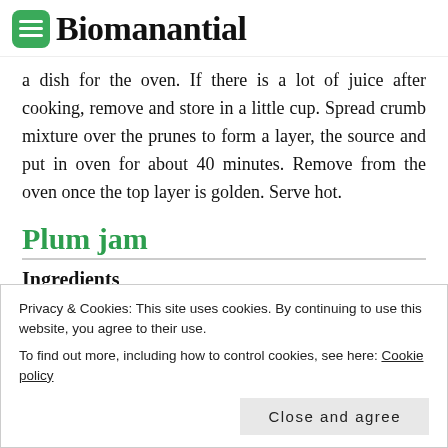Biomanantial
a dish for the oven. If there is a lot of juice after cooking, remove and store in a little cup. Spread crumb mixture over the prunes to form a layer, the source and put in oven for about 40 minutes. Remove from the oven once the top layer is golden. Serve hot.
Plum jam
Ingredients
Privacy & Cookies: This site uses cookies. By continuing to use this website, you agree to their use.
To find out more, including how to control cookies, see here: Cookie policy
brown sugar